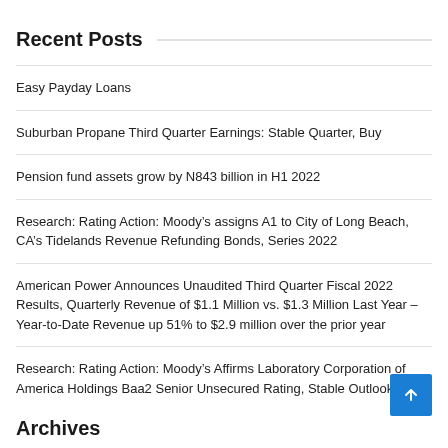Recent Posts
Easy Payday Loans
Suburban Propane Third Quarter Earnings: Stable Quarter, Buy
Pension fund assets grow by N843 billion in H1 2022
Research: Rating Action: Moody’s assigns A1 to City of Long Beach, CA’s Tidelands Revenue Refunding Bonds, Series 2022
American Power Announces Unaudited Third Quarter Fiscal 2022 Results, Quarterly Revenue of $1.1 Million vs. $1.3 Million Last Year – Year-to-Date Revenue up 51% to $2.9 million over the prior year
Research: Rating Action: Moody’s Affirms Laboratory Corporation of America Holdings Baa2 Senior Unsecured Rating, Stable Outlook
Archives